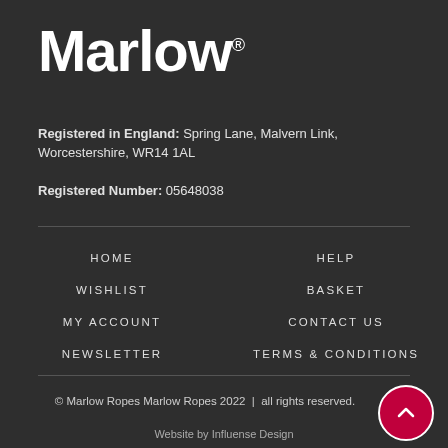[Figure (logo): Marlow logo in bold white text on dark background with registered trademark symbol]
Registered in England: Spring Lane, Malvern Link, Worcestershire, WR14 1AL
Registered Number: 05648038
HOME
HELP
WISHLIST
BASKET
MY ACCOUNT
CONTACT US
NEWSLETTER
TERMS & CONDITIONS
© Marlow Ropes Marlow Ropes 2022  |  all rights reserved.
Website by Influense Design